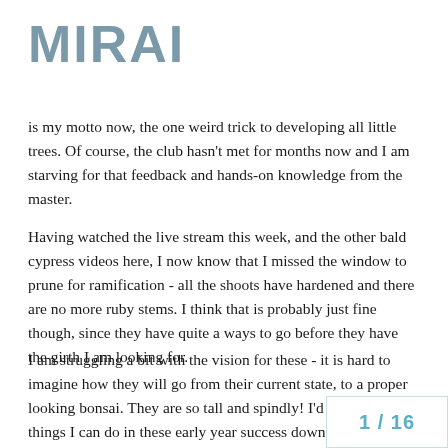MIRAI
is my motto now, the one weird trick to developing all little trees. Of course, the club hasn't met for months now and I am starving for that feedback and hands-on knowledge from the master.
Having watched the live stream this week, and the other bald cypress videos here, I now know that I missed the window to prune for ramification - all the shoots have hardened and there are no more ruby stems. I think that is probably just fine though, since they have quite a ways to go before they have the girth I am looking for.
I am struggling a bit with the vision for these - it is hard to imagine how they will go from their current state, to a proper looking bonsai. They are so tall and spindly! I'd like to know things I can do in these early year success down the line. My biggest quest
1 / 16